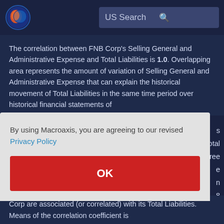US Search
The correlation between FNB Corp's Selling General and Administrative Expense and Total Liabilities is 1.0. Overlapping area represents the amount of variation of Selling General and Administrative Expense that can explain the historical movement of Total Liabilities in the same time period over historical financial statements of
By using Macroaxis, you are agreeing to our revised Privacy Policy
OK
otal
gree
e
n
8
Corp are associated (or correlated) with its Total Liabilities. Means of the correlation coefficient is